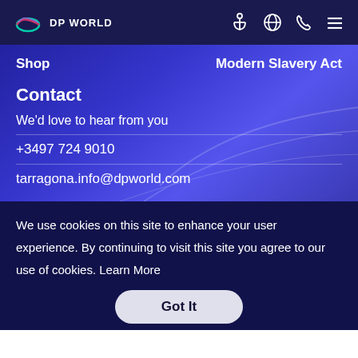DP World
Shop   Modern Slavery Act
Contact
We'd love to hear from you
+3497 724 9010
tarragona.info@dpworld.com
We use cookies on this site to enhance your user experience. By continuing to visit this site you agree to our use of cookies. Learn More
Got It